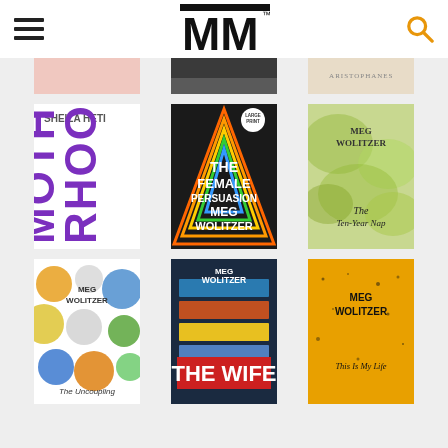[Figure (screenshot): Website header with hamburger menu icon on left, MM logo in center with TM mark, and orange search magnifying glass icon on right]
[Figure (photo): Grid of book covers: partial row at top showing 3 partially visible books, then two full rows. Row 2: Motherhood by Sheila Heti (purple vertical text), The Female Persuasion by Meg Wolitzer (colorful triangles), The Ten-Year Nap by Meg Wolitzer (green/yellow). Row 3: The Uncoupling by Meg Wolitzer (colorful dots), The Wife by Meg Wolitzer (stacked books on dark background), This Is My Life by Meg Wolitzer (yellow cover with dots).]